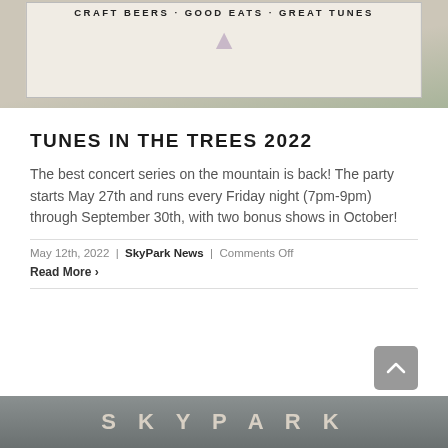[Figure (photo): Outdoor banner sign reading 'CRAFT BEERS · GOOD EATS · GREAT TUNES' with illustrated trees on a white banner backdrop, photographed outdoors with trees and structures in background]
TUNES IN THE TREES 2022
The best concert series on the mountain is back! The party starts May 27th and runs every Friday night (7pm-9pm) through September 30th, with two bonus shows in October!
May 12th, 2022 | SkyPark News | Comments Off
Read More ›
[Figure (photo): Partially visible bottom photo with SKYPARK text overlay in large spaced letterforms on a dark outdoor background]